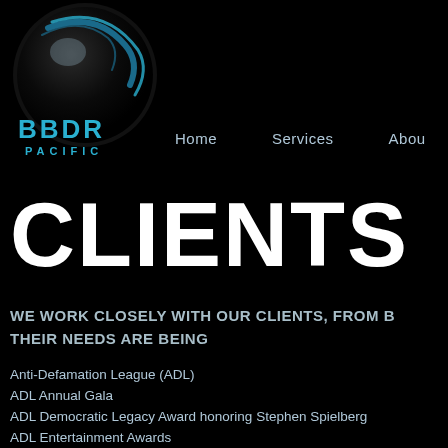[Figure (logo): BBDR Pacific logo — dark oval/sphere shape with blue curved lines and text 'BBDR PACIFIC' below]
Home   Services   About
CLIENTS
WE WORK CLOSELY WITH OUR CLIENTS, FROM B... THEIR NEEDS ARE BEING...
Anti-Defamation League (ADL)
ADL Annual Gala
ADL Democratic Legacy Award honoring Stephen Spielberg
ADL Entertainment Awards
Alfred Mann Foundation
A Place Called Home Gala